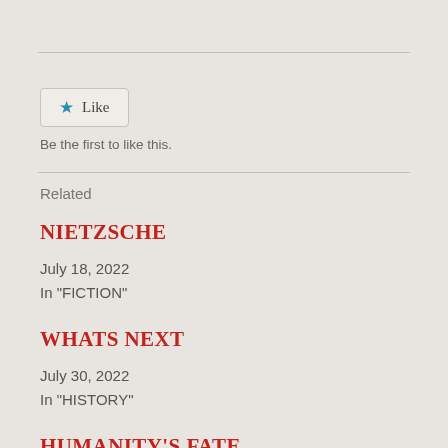[Figure (other): Like button with blue star icon and 'Like' label]
Be the first to like this.
Related
NIETZSCHE
July 18, 2022
In "FICTION"
WHATS NEXT
July 30, 2022
In "HISTORY"
HUMANITY'S FATE
July 23, 2022